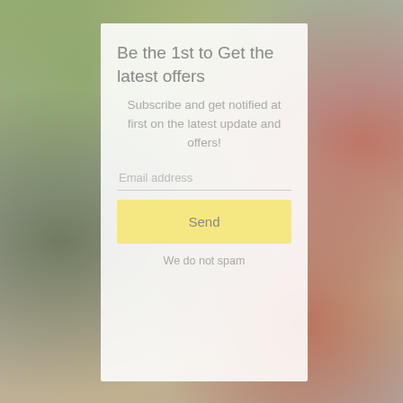[Figure (photo): Blurred background photo of colorful vegetables and food items including red peppers and green leafy vegetables]
Be the 1st to Get the latest offers
Subscribe and get notified at first on the latest update and offers!
Email address
Send
We do not spam